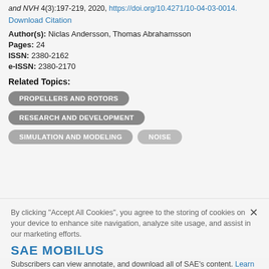and NVH 4(3):197-219, 2020, https://doi.org/10.4271/10-04-03-0014. Download Citation
Author(s): Niclas Andersson, Thomas Abrahamsson
Pages: 24
ISSN: 2380-2162
e-ISSN: 2380-2170
Related Topics:
PROPELLERS AND ROTORS
RESEARCH AND DEVELOPMENT
SIMULATION AND MODELING
NOISE
By clicking "Accept All Cookies", you agree to the storing of cookies on your device to enhance site navigation, analyze site usage, and assist in our marketing efforts.
SAE MOBILUS
Subscribers can view annotate, and download all of SAE's content. Learn More »
Cookies Settings
Accept Cookies
Access SAE MOBILUS »